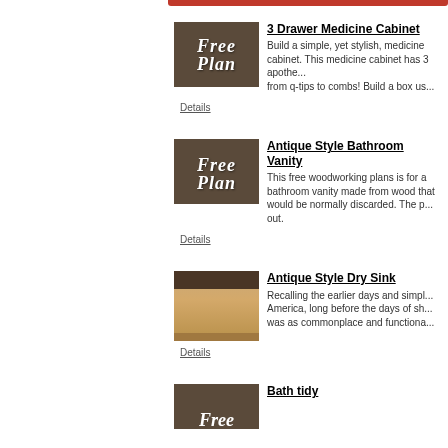[Figure (photo): Thumbnail image with rustic wood background showing 'Free Plan' text for 3 Drawer Medicine Cabinet]
3 Drawer Medicine Cabinet
Build a simple, yet stylish, medicine cabinet. This medicine cabinet has 3 apothecary drawers that can hold anything from q-tips to combs! Build a box us...
Details
[Figure (photo): Thumbnail image with rustic wood background showing 'Free Plan' text for Antique Style Bathroom Vanity]
Antique Style Bathroom Vanity
This free woodworking plans is for a bathroom vanity made from wood that would be normally discarded. The p... out.
Details
[Figure (photo): Photo of a wooden antique style dry sink with two doors and drawers]
Antique Style Dry Sink
Recalling the earlier days and simpl... America, long before the days of sh... was as commonplace and functiona...
Details
[Figure (photo): Partial thumbnail image with rustic wood background showing 'Free' text for Bath tidy]
Bath tidy